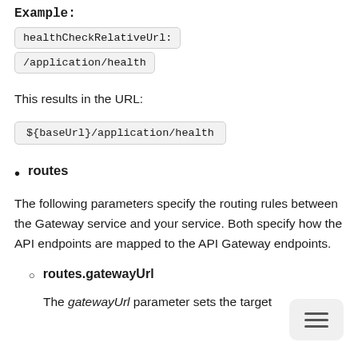Example:
healthCheckRelativeUrl:
/application/health
This results in the URL:
${baseUrl}/application/health
routes
The following parameters specify the routing rules between the Gateway service and your service. Both specify how the API endpoints are mapped to the API Gateway endpoints.
routes.gatewayUrl
The gatewayUrl parameter sets the target backend between the Gateway. This is the...